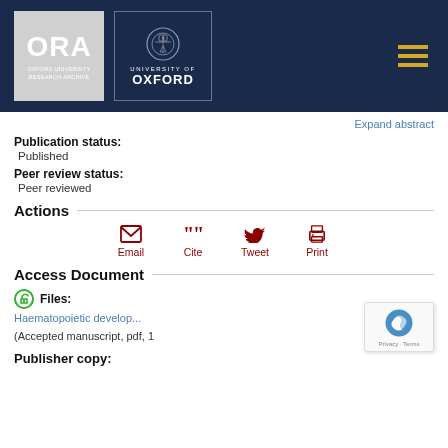[Figure (logo): ORA Oxford University Research Archive logo on dark navy background, alongside University of Oxford logo with crest, and hamburger menu icon]
Expand abstract
Publication status:
Published
Peer review status:
Peer reviewed
Actions
Email
Cite
Tweet
Print
Access Document
Files:
Haematopoietic develop...
(Accepted manuscript, pdf, 1
Publisher copy: